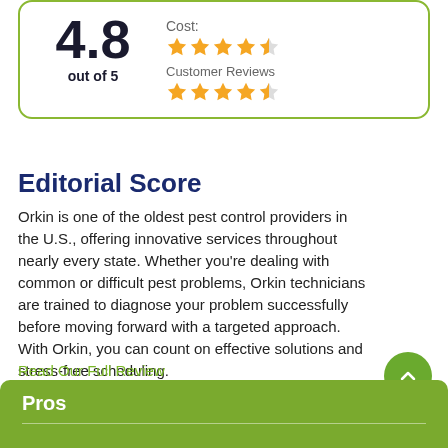4.8 out of 5
Cost:
★★★★½ (stars)
Customer Reviews
★★★★½ (stars)
Editorial Score
Orkin is one of the oldest pest control providers in the U.S., offering innovative services throughout nearly every state. Whether you're dealing with common or difficult pest problems, Orkin technicians are trained to diagnose your problem successfully before moving forward with a targeted approach. With Orkin, you can count on effective solutions and stress-free scheduling.
Read Our Full Review
Back To Top
Pros